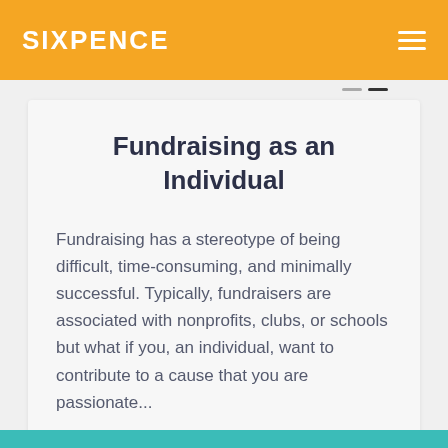SIXPENCE
Fundraising as an Individual
Fundraising has a stereotype of being difficult, time-consuming, and minimally successful. Typically, fundraisers are associated with nonprofits, clubs, or schools but what if you, an individual, want to contribute to a cause that you are passionate...
Read More